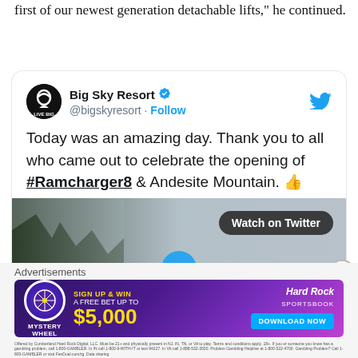first of our newest generation detachable lifts," he continued.
[Figure (screenshot): Embedded tweet from @bigskyresort (Big Sky Resort, verified account) with text: 'Today was an amazing day. Thank you to all who came out to celebrate the opening of #Ramcharger8 & Andesite Mountain. 👍' with a media attachment showing a video thumbnail with 'Watch on Twitter' button and 'RAMCHARGER 8' text at the bottom.]
[Figure (photo): Advertisement banner for Hard Rock Sportsbook - Mystery Wheel promotion offering a free bet up to $5,000 with a 'DOWNLOAD NOW' button.]